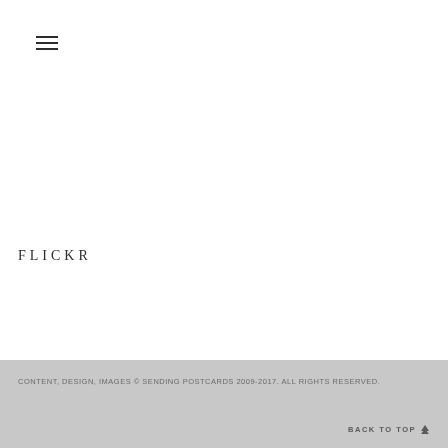[Figure (other): Hamburger menu icon with three horizontal lines]
FLICKR
CONTENT, DESIGN, IMAGES © SENDING POSTCARDS 2009-2017. ALL RIGHTS RESERVED.
BACK TO TOP